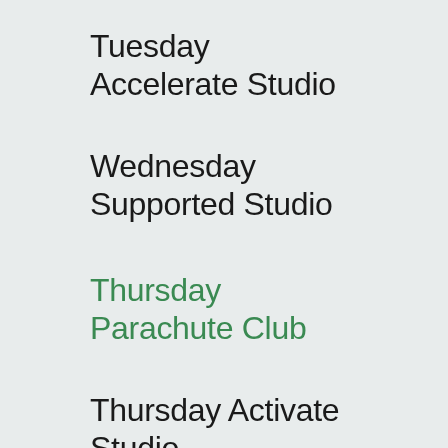Tuesday Accelerate Studio
Wednesday Supported Studio
Thursday Parachute Club
Thursday Activate Studio
Friday Parachute Club